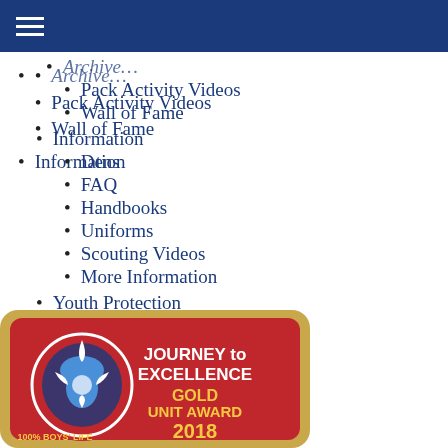≡ (navigation menu)
Pack Activity Videos
Wall of Fame
Information
Dens
FAQ
Handbooks
Uniforms
Scouting Videos
More Information
Youth Protection
Links
Contact Us
Leadership Positions
[Figure (photo): Boy Scouts Journey to Excellence Gold Unit Award 2018 patch with BSA fleur-de-lis logo and '100% Boys Life' text on red background with gold border]